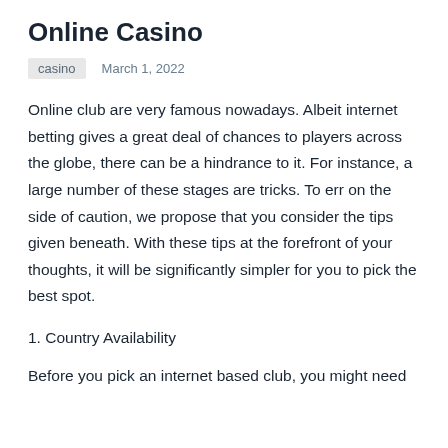Online Casino
casino   March 1, 2022
Online club are very famous nowadays. Albeit internet betting gives a great deal of chances to players across the globe, there can be a hindrance to it. For instance, a large number of these stages are tricks. To err on the side of caution, we propose that you consider the tips given beneath. With these tips at the forefront of your thoughts, it will be significantly simpler for you to pick the best spot.
1. Country Availability
Before you pick an internet based club, you might need